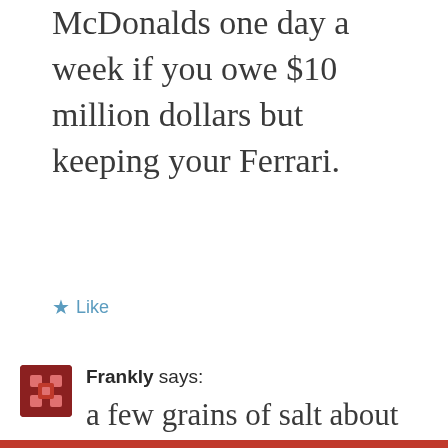McDonalds one day a week if you owe $10 million dollars but keeping your Ferrari.
★ Like
Frankly says:
a few grains of salt about those popularity numbers for Congress. Congress has long been very unpopular but people are largely in favor of